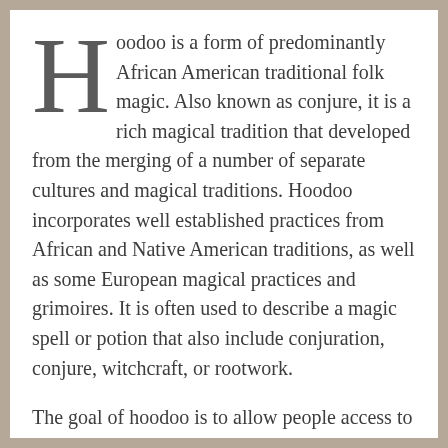Hoodoo is a form of predominantly African American traditional folk magic. Also known as conjure, it is a rich magical tradition that developed from the merging of a number of separate cultures and magical traditions. Hoodoo incorporates well established practices from African and Native American traditions, as well as some European magical practices and grimoires. It is often used to describe a magic spell or potion that also include conjuration, conjure, witchcraft, or rootwork.
The goal of hoodoo is to allow people access to supernatural forces to improve their daily lives by gaining power in many areas of life, including luck, money, love, divination, revenge, health, employment, and necromancy. As in many other folk religious, magical, and medical practices, extensive use is made of herbs, minerals, parts of animals' bodies, an